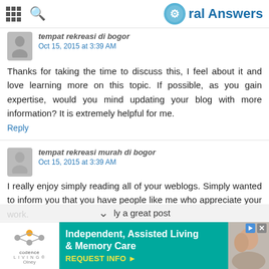Oral Answers
tempat rekreasi di bogor
Oct 15, 2015 at 3:39 AM
Thanks for taking the time to discuss this, I feel about it and love learning more on this topic. If possible, as you gain expertise, would you mind updating your blog with more information? It is extremely helpful for me.
Reply
tempat rekreasi murah di bogor
Oct 15, 2015 at 3:39 AM
I really enjoy simply reading all of your weblogs. Simply wanted to inform you that you have people like me who appreciate your work. ly a great post
[Figure (infographic): Advertisement banner for Codence Living (Olney) — Independent, Assisted Living & Memory Care with REQUEST INFO button and photo of elderly couple]